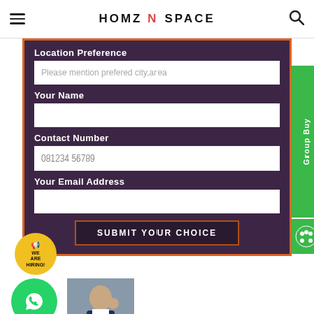HOMZ N SPACE
Location Preference
Please mention prefered city,area
Your Name
Contact Number
081234 56789
Your Email Address
SUBMIT YOUR CHOICE
[Figure (illustration): Group Buy tab on the right side with green background and paw icon]
[Figure (illustration): We Are Hiring badge in yellow circle at bottom left]
[Figure (illustration): WhatsApp green circle button at bottom left]
[Figure (photo): Photo of a man in a suit with raised fist at bottom center]